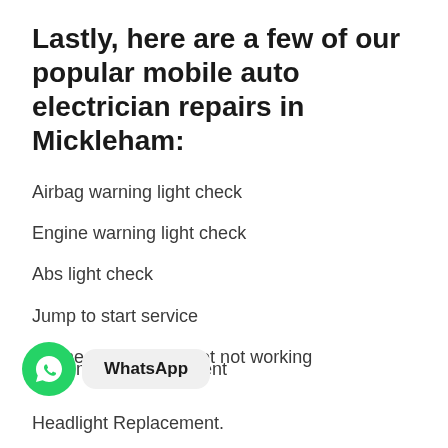Lastly, here are a few of our popular mobile auto electrician repairs in Mickleham:
Airbag warning light check
Engine warning light check
Abs light check
Jump to start service
Phone charging socket not working
Door mirror replacement
Headlight Replacement.